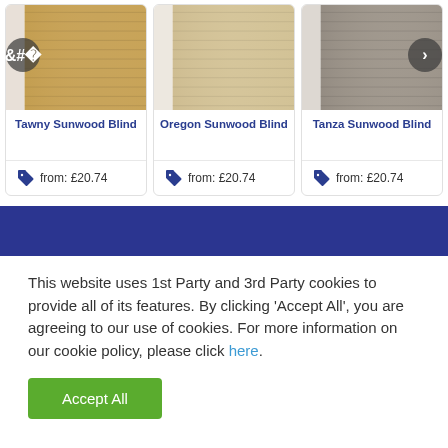[Figure (photo): Three product cards showing Venetian window blinds: Tawny Sunwood Blind (tan/golden color), Oregon Sunwood Blind (light beige color), and Tanza Sunwood Blind (grey color). Navigation arrows on left and right sides. Each card shows price tag icon and 'from: £20.74'.]
Tawny Sunwood Blind
from: £20.74
Oregon Sunwood Blind
from: £20.74
Tanza Sunwood Blind
from: £20.74
This website uses 1st Party and 3rd Party cookies to provide all of its features. By clicking 'Accept All', you are agreeing to our use of cookies. For more information on our cookie policy, please click here.
Accept All